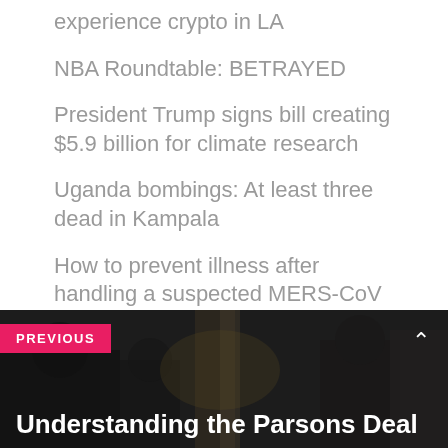experience crypto in LA
NBA Roundtable: BETRAYED
President Trump signs bill creating $5.9 billion for climate research
Uganda bombings: At least three dead in Kampala
How to prevent illness after handling a suspected MERS-CoV case
[Figure (photo): Dark background photo with people silhouettes, overlaid with navigation UI showing PREVIOUS badge and Understanding the Parsons Deal title text]
Understanding the Parsons Deal